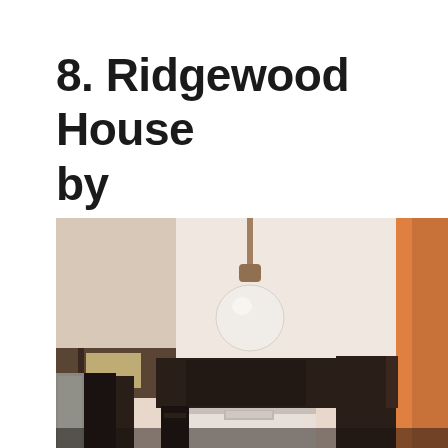8. Ridgewood House by Assembledge+
[Figure (photo): Interior kitchen photograph showing a modern kitchen with dark wood cabinets, a white globe pendant light hanging from a white ceiling, stainless steel appliances, and a warm orange door frame visible on the right side.]